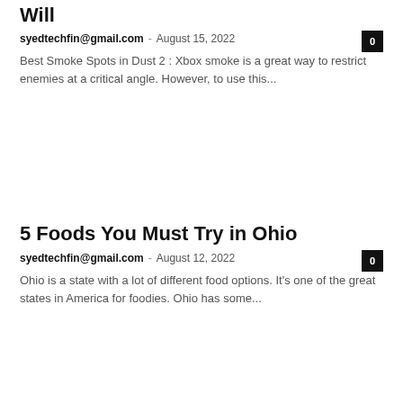Will
syedtechfin@gmail.com · August 15, 2022
Best Smoke Spots in Dust 2 : Xbox smoke is a great way to restrict enemies at a critical angle. However, to use this...
5 Foods You Must Try in Ohio
syedtechfin@gmail.com · August 12, 2022
Ohio is a state with a lot of different food options. It's one of the great states in America for foodies. Ohio has some...